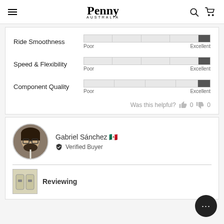Penny Australia
[Figure (infographic): Rating bars for Ride Smoothness, Speed & Flexibility, and Component Quality, each shown as a segmented bar from Poor to Excellent with a filled dark segment near the right end.]
Was this helpful? 👍 0 👎 0
[Figure (photo): Profile photo of Gabriel Sánchez, a man with glasses and a beard, circular crop.]
Gabriel Sánchez 🇲🇽
✔ Verified Buyer
Reviewing